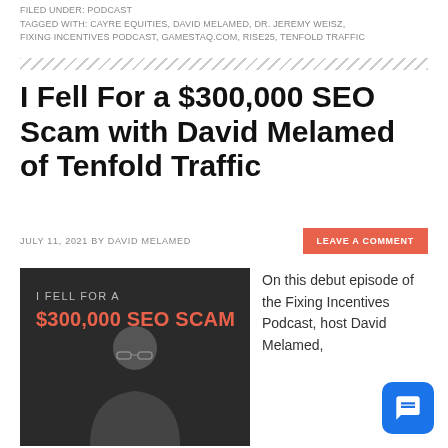FILED UNDER: PODCAST
TAGGED WITH: CAYRE EQUITIES, DAVID MELAMED, DR. JEREMY WEISZ, FIXING INCENTIVES PODCAST, GAMESTAQ.COM, RISE25, TENFOLD TRAFFIC
I Fell For a $300,000 SEO Scam with David Melamed of Tenfold Traffic
JULY 11, 2021 BY DAVID MELAMED
LEAVE A COMMENT
[Figure (photo): Podcast thumbnail image with dark background. Text reads 'I FELL FOR A' in light gray and '$300,000 SEO SCAM' in large orange text. A man wearing glasses is visible below the text.]
On this debut episode of the Fixing Incentives Podcast, host David Melamed,